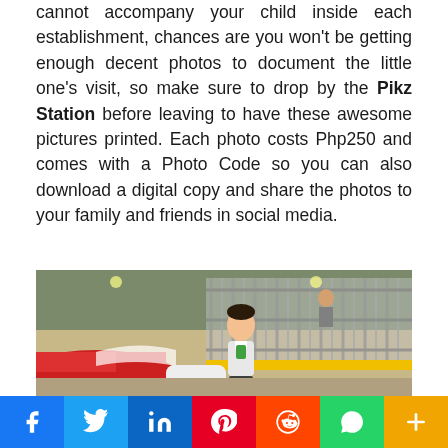cannot accompany your child inside each establishment, chances are you won't be getting enough decent photos to document the little one's visit, so make sure to drop by the Pikz Station before leaving to have these awesome pictures printed. Each photo costs Php250 and comes with a Photo Code so you can also download a digital copy and share the photos to your family and friends in social media.
[Figure (photo): A young boy standing near a red Formula 1 style racing car at what appears to be an indoor racing/driving attraction, with a metal fence/barrier in the background.]
Social share buttons: Facebook, Twitter, LinkedIn, Pinterest, Reddit, WhatsApp, More